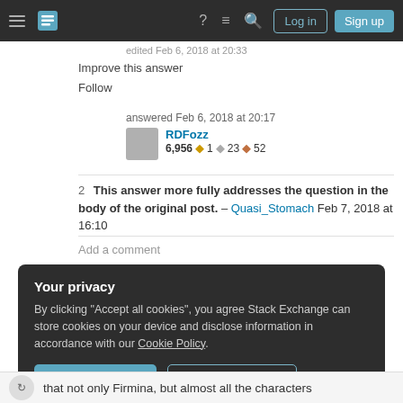Stack Exchange navigation bar with logo, Log in, Sign up buttons
edited Feb 6, 2018 at 20:33
Improve this answer
Follow
answered Feb 6, 2018 at 20:17
RDFozz 6,956 🔥 1 🥈 23 🥉 52
2 This answer more fully addresses the question in the body of the original post. – Quasi_Stomach Feb 7, 2018 at 16:10
Add a comment
Your privacy
By clicking "Accept all cookies", you agree Stack Exchange can store cookies on your device and disclose information in accordance with our Cookie Policy.
Accept all cookies
Customize settings
that not only Firmina, but almost all the characters